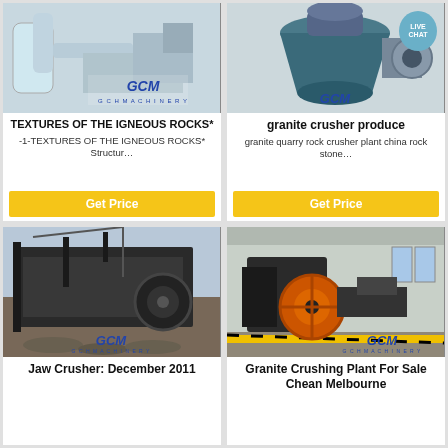[Figure (photo): Industrial machinery with pipes and GCM GCH Machinery logo]
TEXTURES OF THE IGNEOUS ROCKS*
-1-TEXTURES OF THE IGNEOUS ROCKS* Structur…
Get Price
[Figure (photo): Granite cone crusher with GCM logo and LIVE CHAT badge]
granite crusher produce
granite quarry rock crusher plant china rock stone…
Get Price
[Figure (photo): Jaw crusher outdoor installation with GCM GCH Machinery logo]
Jaw Crusher: December 2011
[Figure (photo): Granite crushing plant interior with jaw crusher and GCM logo]
Granite Crushing Plant For Sale Chean Melbourne